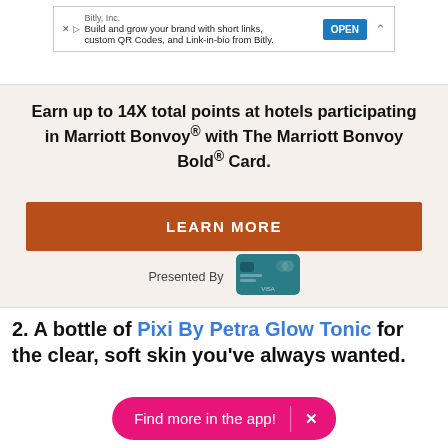[Figure (screenshot): Ad banner for Bitly, Inc. showing 'Build and grow your brand with short links, custom QR Codes, and Link-in-bio from Bitly.' with an OPEN button and close chevron]
Earn up to 14X total points at hotels participating in Marriott Bonvoy® with The Marriott Bonvoy Bold® Card.
LEARN MORE
Presented By
[Figure (illustration): Marriott Bonvoy Bold credit card image]
2. A bottle of Pixi By Petra Glow Tonic for the clear, soft skin you've always wanted.
Find more in the app!  ×